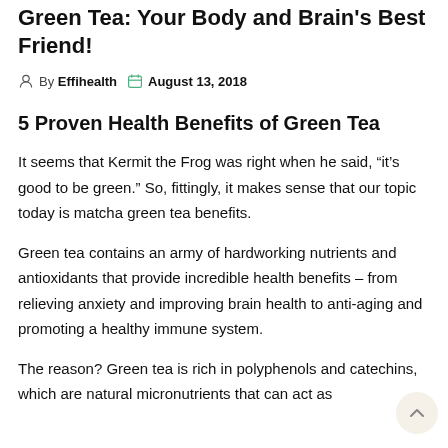Green Tea: Your Body and Brain's Best Friend!
By Effihealth   August 13, 2018
5 Proven Health Benefits of Green Tea
It seems that Kermit the Frog was right when he said, “it’s good to be green.” So, fittingly, it makes sense that our topic today is matcha green tea benefits.
Green tea contains an army of hardworking nutrients and antioxidants that provide incredible health benefits – from relieving anxiety and improving brain health to anti-aging and promoting a healthy immune system.
The reason? Green tea is rich in polyphenols and catechins, which are natural micronutrients that can act as